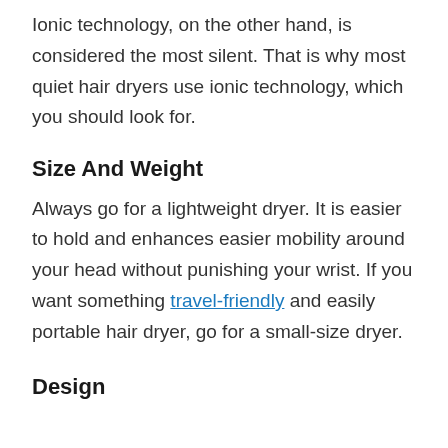Ionic technology, on the other hand, is considered the most silent. That is why most quiet hair dryers use ionic technology, which you should look for.
Size And Weight
Always go for a lightweight dryer. It is easier to hold and enhances easier mobility around your head without punishing your wrist. If you want something travel-friendly and easily portable hair dryer, go for a small-size dryer.
Design